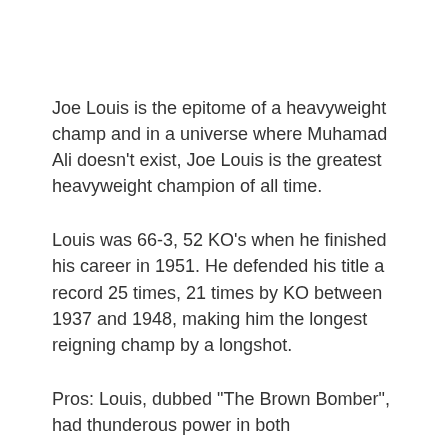Joe Louis is the epitome of a heavyweight champ and in a universe where Muhamad Ali doesn't exist, Joe Louis is the greatest heavyweight champion of all time.
Louis was 66-3, 52 KO's when he finished his career in 1951. He defended his title a record 25 times, 21 times by KO between 1937 and 1948, making him the longest reigning champ by a longshot.
Pros: Louis, dubbed "The Brown Bomber", had thunderous power in both